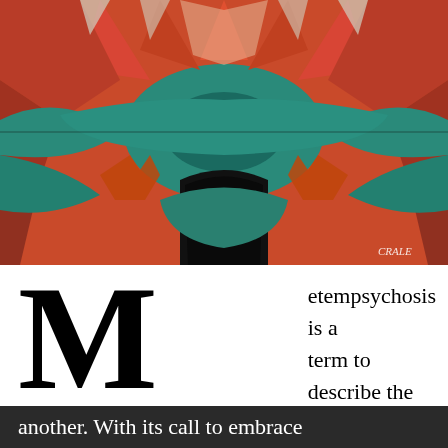[Figure (illustration): Abstract cubist/futurist painting with orange, red, teal and dark geometric shapes forming a symmetrical composition with circular and angular elements. Artist signature 'CRALE' visible in bottom right corner.]
Metempsychosis is a term to describe the transposition of the soul from one site to another. With its call to embrace